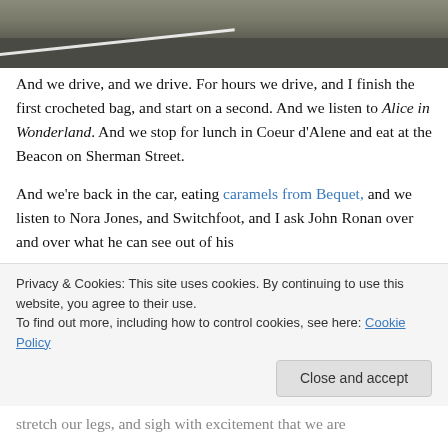[Figure (photo): Top portion of a road/highway photo showing asphalt surface with a white line, viewed at an angle]
And we drive, and we drive. For hours we drive, and I finish the first crocheted bag, and start on a second. And we listen to Alice in Wonderland. And we stop for lunch in Coeur d'Alene and eat at the Beacon on Sherman Street.
And we're back in the car, eating caramels from Bequet, and we listen to Nora Jones, and Switchfoot, and I ask John Ronan over and over what he can see out of his
Privacy & Cookies: This site uses cookies. By continuing to use this website, you agree to their use.
To find out more, including how to control cookies, see here: Cookie Policy
stretch our legs, and sigh with excitement that we are